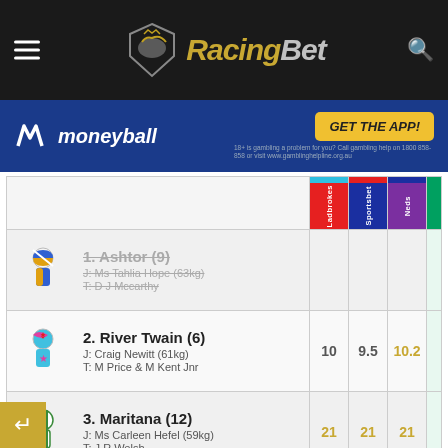[Figure (logo): RacingBet logo with hamburger menu and search icon on dark header]
[Figure (infographic): Moneyball advertisement banner with GET THE APP button]
| Runner | Ladbrokes | Tab | Neds |
| --- | --- | --- | --- |
| 1. Ashtor (9) - scratched, J: Ms Tahlia Hope (63kg), T: D J Mccarthy |  |  |  |
| 2. River Twain (6), J: Craig Newitt (61kg), T: M Price & M Kent Jnr | 10 | 9.5 | 10.2 |
| 3. Maritana (12), J: Ms Carleen Hefel (59kg), T: J R Welsh | 21 | 21 | 21 |
| 4. Beehunter (7), J: Jye Mcneil (58.5kg), T: J D Sadler | 8 | 8 | 6.8 |